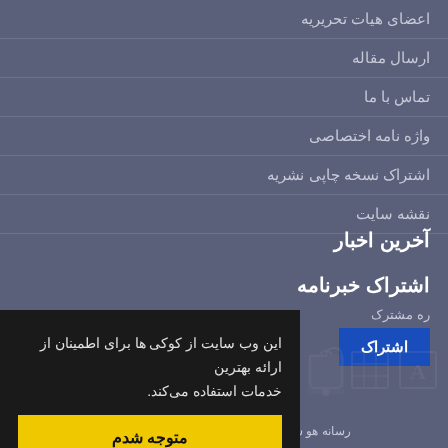اعضای هیات تحریریه
ارسال مقاله
تماس با ما
واژه نامه اختصاصی
اشتراک نسخه چاپی نشریه
نقشه سایت
آخرین اخبار
اشتراک خبرنامه
ره مشترک
اشتراک
این وب سایت از کوکی ها برای اطمینان از ارائه بهترین خدمات استفاده می‌کند.
متوجه شدم
رسانه هو سرتنشریات عالی قدرتگ فتهاش سرنامی